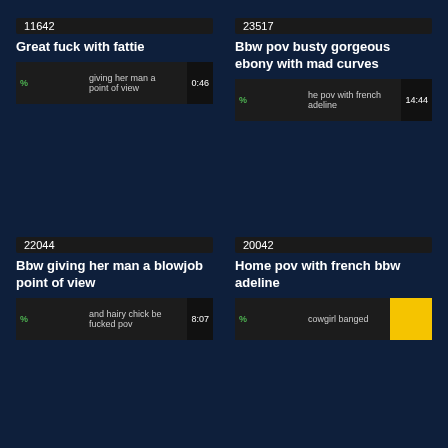11642
Great fuck with fattie
% giving her man a point of view | 0:46
23517
Bbw pov busty gorgeous ebony with mad curves
% he pov with french adeline | 14:44
22044
Bbw giving her man a blowjob point of view
% and hairy chick be fucked pov | 8:07
20042
Home pov with french bbw adeline
% cowgirl banged | 42:49